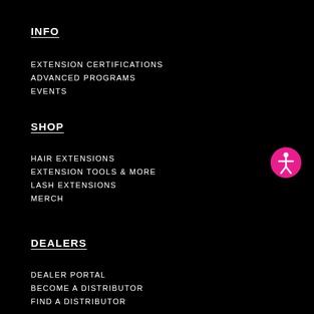INFO
EXTENSION CERTIFICATIONS
ADVANCED PROGRAMS
EVENTS
SHOP
HAIR EXTENSIONS
EXTENSION TOOLS & MORE
LASH EXTENSIONS
MERCH
[Figure (illustration): Pink circle with white accessibility icon (person with arms outstretched)]
DEALERS
DEALER PORTAL
BECOME A DISTRIBUTOR
FIND A DISTRIBUTOR